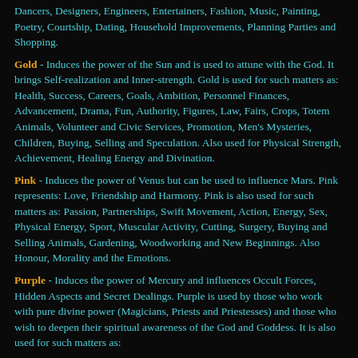Dancers, Designers, Engineers, Entertainers, Fashion, Music, Painting, Poetry, Courtship, Dating, Household Improvements, Planning Parties and Shopping.
Gold - Induces the power of the Sun and is used to attune with the God. It brings Self-realization and Inner-strength. Gold is used for such matters as: Health, Success, Careers, Goals, Ambition, Personnel Finances, Advancement, Drama, Fun, Authority, Figures, Law, Fairs, Crops, Totem Animals, Volunteer and Civic Services, Promotion, Men's Mysteries, Children, Buying, Selling and Speculation. Also used for Physical Strength, Achievement, Healing Energy and Divination.
Pink - Induces the power of Venus but can be used to influence Mars. Pink represents: Love, Friendship and Harmony. Pink is also used for such matters as: Passion, Partnerships, Swift Movement, Action, Energy, Sex, Physical Energy, Sport, Muscular Activity, Cutting, Surgery, Buying and Selling Animals, Gardening, Woodworking and New Beginnings. Also Honour, Morality and the Emotions.
Purple - Induces the power of Mercury and influences Occult Forces, Hidden Aspects and Secret Dealings. Purple is used by those who work with pure divine power (Magicians, Priests and Priestesses) and those who wish to deepen their spiritual awareness of the God and Goddess. It is also used for such matters as: